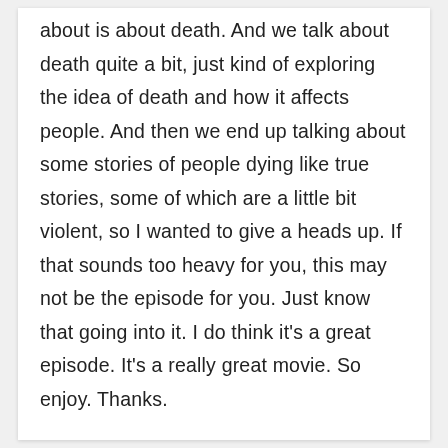about is about death. And we talk about death quite a bit, just kind of exploring the idea of death and how it affects people. And then we end up talking about some stories of people dying like true stories, some of which are a little bit violent, so I wanted to give a heads up. If that sounds too heavy for you, this may not be the episode for you. Just know that going into it. I do think it's a great episode. It's a really great movie. So enjoy. Thanks.